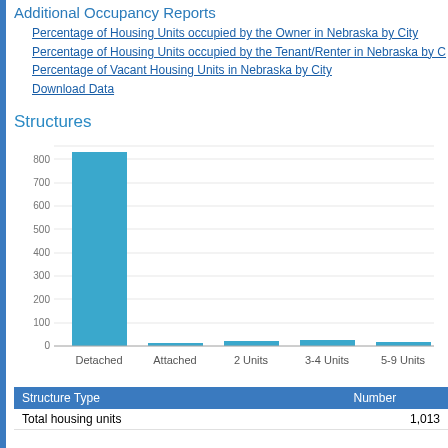Additional Occupancy Reports
Percentage of Housing Units occupied by the Owner in Nebraska by City
Percentage of Housing Units occupied by the Tenant/Renter in Nebraska by City
Percentage of Vacant Housing Units in Nebraska by City
Download Data
Structures
[Figure (bar-chart): Structures]
| Structure Type | Number |
| --- | --- |
| Total housing units | 1,013 |